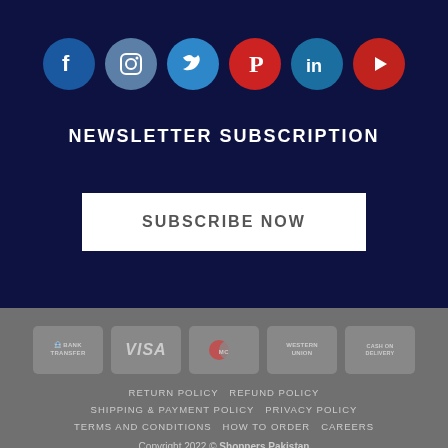[Figure (infographic): Row of six social media icons: Facebook (dark blue circle), Instagram (gray-blue circle), Twitter (blue circle), Pinterest (red circle), LinkedIn (blue circle), YouTube (red circle)]
NEWSLETTER SUBSCRIPTION
SUBSCRIBE NOW
[Figure (infographic): Payment method badges: Bank Transfer, VISA, MasterCard, Western Union, Cash on Delivery]
RETURN POLICY   REFUND POLICY   SHIPPING & PAYMENT POLICY   PRIVACY POLICY   TERMS AND CONDITIONS   HOW TO ORDER   CAREERS
Copyright 2022 © Shoppers Pakistan